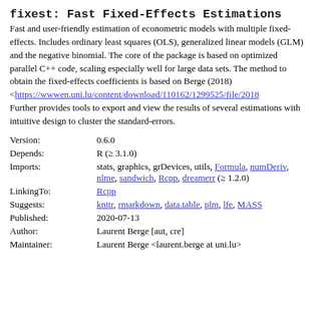fixest: Fast Fixed-Effects Estimations
Fast and user-friendly estimation of econometric models with multiple fixed-effects. Includes ordinary least squares (OLS), generalized linear models (GLM) and the negative binomial. The core of the package is based on optimized parallel C++ code, scaling especially well for large data sets. The method to obtain the fixed-effects coefficients is based on Berge (2018) <https://wwwen.uni.lu/content/download/110162/1299525/file/2018. Further provides tools to export and view the results of several estimations with intuitive design to cluster the standard-errors.
| Field | Value |
| --- | --- |
| Version: | 0.6.0 |
| Depends: | R (≥ 3.1.0) |
| Imports: | stats, graphics, grDevices, utils, Formula, numDeriv, nlme, sandwich, Rcpp, dreamerr (≥ 1.2.0) |
| LinkingTo: | Rcpp |
| Suggests: | knitr, rmarkdown, data.table, plm, lfe, MASS |
| Published: | 2020-07-13 |
| Author: | Laurent Berge [aut, cre] |
| Maintainer: | Laurent Berge <laurent.berge at uni.lu> |